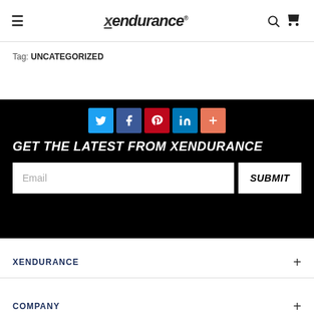Xendurance — navigation header with hamburger menu, logo, search and cart icons
Tag: UNCATEGORIZED
[Figure (infographic): Black promotional section with social sharing icons (Twitter, Facebook, Pinterest, LinkedIn, Plus), headline 'GET THE LATEST FROM XENDURANCE', email input field and SUBMIT button]
XENDURANCE
COMPANY